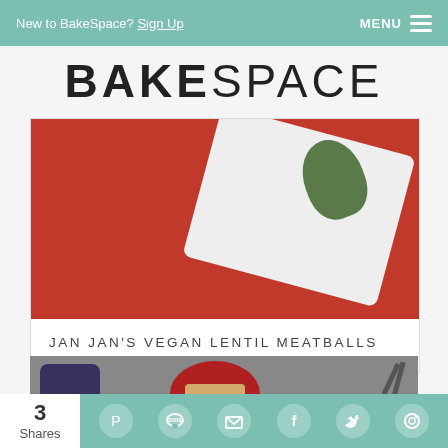New to BakeSpace? Sign Up   MENU
BAKESPACE
[Figure (photo): Close-up photo of a red cloth with a white rectangular tray and a green herb leaf on top]
JAN JAN'S VEGAN LENTIL MEATBALLS
[Figure (photo): Photo of blueberries in a container, a red bowl with granola, and a whisk on a metal surface]
3 Shares — Pinterest, SMS, Email, Facebook, Twitter, Other share icons